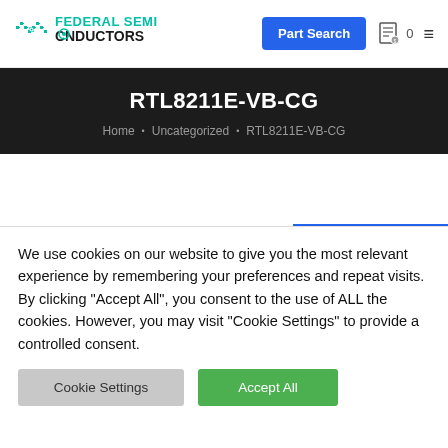[Figure (logo): Federal Semiconductors logo with teal circuit/waveform icon and text 'FEDERAL SEMI CONDUCTORS']
RTL8211E-VB-CG
Home • Uncategorized • RTL8211E-VB-CG
We use cookies on our website to give you the most relevant experience by remembering your preferences and repeat visits. By clicking "Accept All", you consent to the use of ALL the cookies. However, you may visit "Cookie Settings" to provide a controlled consent.